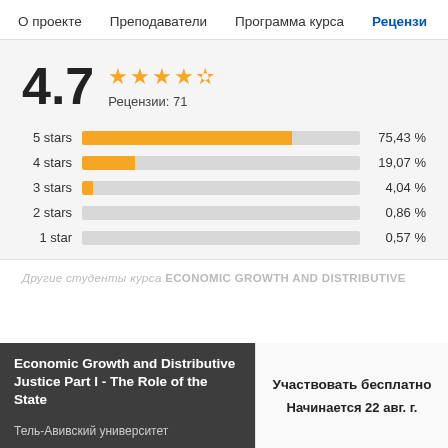О проекте  Преподаватели  Программа курса  Рецензи
[Figure (bar-chart): Рейтинг 4.7, Рецензии: 71]
Другие студенты курса ECONOMIC GROWTH AND DISTRIBUTIVE
Economic Growth and Distributive Justice Part I - The Role of the State
Тель-Авивский университет
Участвовать бесплатно
Начинается 22 авг. г.